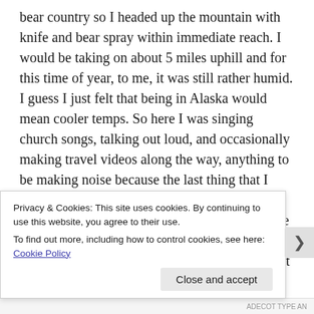bear country so I headed up the mountain with knife and bear spray within immediate reach. I would be taking on about 5 miles uphill and for this time of year, to me, it was still rather humid. I guess I just felt that being in Alaska would mean cooler temps. So here I was singing church songs, talking out loud, and occasionally making travel videos along the way, anything to be making noise because the last thing that I want is to surprise a bear. Everything was fine until I started noticing bear droppings otherwise known as scat. It began appearing every 50 to 100 yards or so and that quickly got the idea out of my mind that this would be easy. In other words, I was fine with thinking that I had nothing to worry about except where I stepped, daylight, and a place to set up camp. But now that I [text continues…]
Privacy & Cookies: This site uses cookies. By continuing to use this website, you agree to their use.
To find out more, including how to control cookies, see here: Cookie Policy
Close and accept